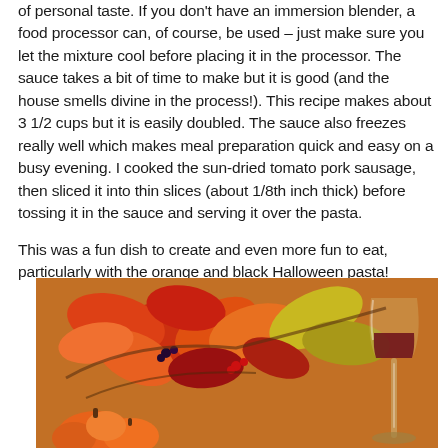of personal taste. If you don't have an immersion blender, a food processor can, of course, be used – just make sure you let the mixture cool before placing it in the processor. The sauce takes a bit of time to make but it is good (and the house smells divine in the process!). This recipe makes about 3 1/2 cups but it is easily doubled. The sauce also freezes really well which makes meal preparation quick and easy on a busy evening. I cooked the sun-dried tomato pork sausage, then sliced it into thin slices (about 1/8th inch thick) before tossing it in the sauce and serving it over the pasta.
This was a fun dish to create and even more fun to eat, particularly with the orange and black Halloween pasta!
[Figure (photo): Autumn/fall decorative arrangement with orange and red maple leaves, small orange pumpkins, berries, and a glass of red wine on a wooden surface]